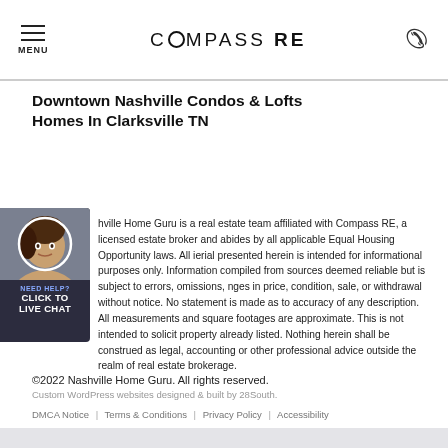COMPASS RE
Downtown Nashville Condos & Lofts
Homes In Clarksville TN
hville Home Guru is a real estate team affiliated with Compass RE, a licensed estate broker and abides by all applicable Equal Housing Opportunity laws. All ierial presented herein is intended for informational purposes only. Information compiled from sources deemed reliable but is subject to errors, omissions, nges in price, condition, sale, or withdrawal without notice. No statement is made as to accuracy of any description. All measurements and square footages are approximate. This is not intended to solicit property already listed. Nothing herein shall be construed as legal, accounting or other professional advice outside the realm of real estate brokerage.
©2022 Nashville Home Guru. All rights reserved.
Custom WordPress websites designed & built by 28South.
DMCA Notice | Terms & Conditions | Privacy Policy | Accessibility